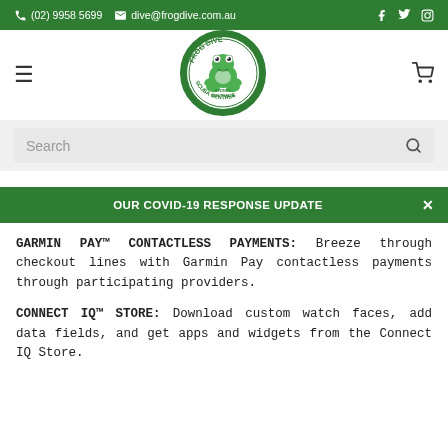(02) 9958 5699  dive@frogdive.com.au
[Figure (logo): Frog Dive Sydney Australia Scuba Centres circular logo with green frog mascot]
Search
OUR COVID-19 RESPONSE UPDATE
GARMIN PAY™ CONTACTLESS PAYMENTS: Breeze through checkout lines with Garmin Pay contactless payments through participating providers.
CONNECT IQ™ STORE: Download custom watch faces, add data fields, and get apps and widgets from the Connect IQ Store.